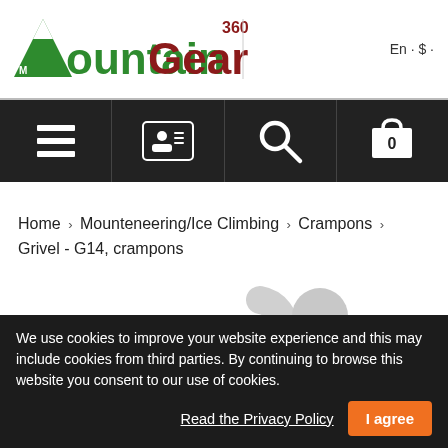[Figure (logo): MountainGear360 logo with green mountain icon and dark red/green text]
En · $ ·
[Figure (infographic): Dark navigation bar with hamburger menu, account icon, search icon, and cart icon with 0 items]
Home › Mounteneering/Ice Climbing › Crampons › Grivel - G14, crampons
[Figure (illustration): Loading spinner / partial circle shapes indicating page loading]
We use cookies to improve your website experience and this may include cookies from third parties. By continuing to browse this website you consent to our use of cookies.
Read the Privacy Policy
I agree